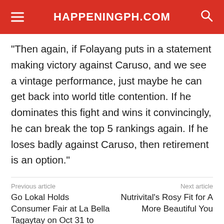HAPPENINGPH.COM
"Then again, if Folayang puts in a statement making victory against Caruso, and we see a vintage performance, just maybe he can get back into world title contention. If he dominates this fight and wins it convincingly, he can break the top 5 rankings again. If he loses badly against Caruso, then retirement is an option."
Previous article | Go Lokal Holds Consumer Fair at La Bella Tagaytay on Oct 31 to Nov 1 || Next article | Nutrivital's Rosy Fit for A More Beautiful You